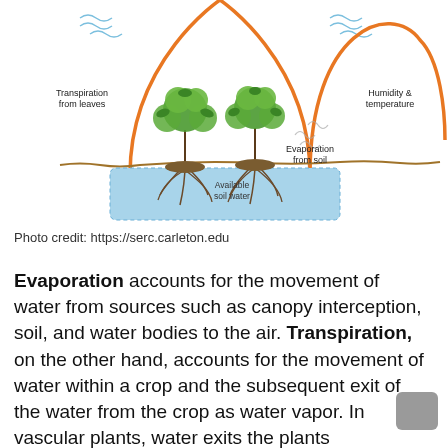[Figure (illustration): Diagram of evapotranspiration showing two plants with roots in soil above a blue water table. Orange arched arrows indicate transpiration from leaves on the left and humidity & temperature on the right. Wavy lines above represent water vapor. Labels: Transpiration from leaves, Humidity & temperature, Evaporation from soil, Available soil water.]
Photo credit: https://serc.carleton.edu
Evaporation accounts for the movement of water from sources such as canopy interception, soil, and water bodies to the air. Transpiration, on the other hand, accounts for the movement of water within a crop and the subsequent exit of the water from the crop as water vapor. In vascular plants, water exits the plants through the stomata in the leaves...